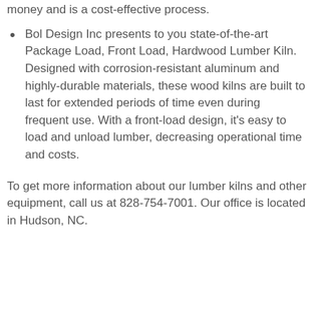supply of wood. Kiln drying saves money and is a cost-effective process.
Bol Design Inc presents to you state-of-the-art Package Load, Front Load, Hardwood Lumber Kiln. Designed with corrosion-resistant aluminum and highly-durable materials, these wood kilns are built to last for extended periods of time even during frequent use. With a front-load design, it's easy to load and unload lumber, decreasing operational time and costs.
To get more information about our lumber kilns and other equipment, call us at 828-754-7001. Our office is located in Hudson, NC.